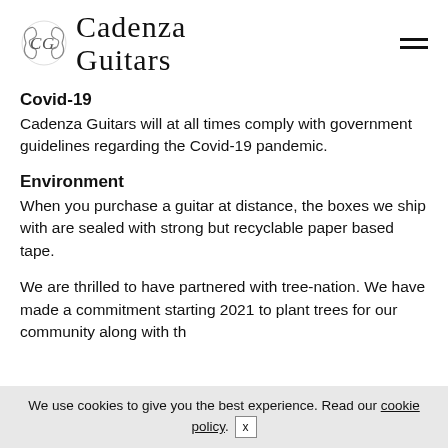Cadenza Guitars
Covid-19
Cadenza Guitars will at all times comply with government guidelines regarding the Covid-19 pandemic.
Environment
When you purchase a guitar at distance, the boxes we ship with are sealed with strong but recyclable paper based tape.
We are thrilled to have partnered with tree-nation. We have made a commitment starting 2021 to plant trees for our community along with th
We use cookies to give you the best experience. Read our cookie policy. x